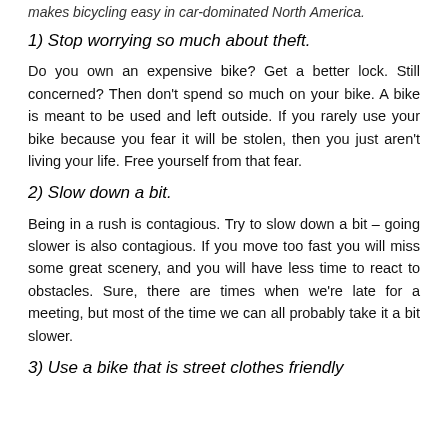makes bicycling easy in car-dominated North America.
1) Stop worrying so much about theft.
Do you own an expensive bike? Get a better lock. Still concerned? Then don't spend so much on your bike. A bike is meant to be used and left outside. If you rarely use your bike because you fear it will be stolen, then you just aren't living your life. Free yourself from that fear.
2) Slow down a bit.
Being in a rush is contagious. Try to slow down a bit – going slower is also contagious. If you move too fast you will miss some great scenery, and you will have less time to react to obstacles. Sure, there are times when we're late for a meeting, but most of the time we can all probably take it a bit slower.
3) Use a bike that is street clothes friendly